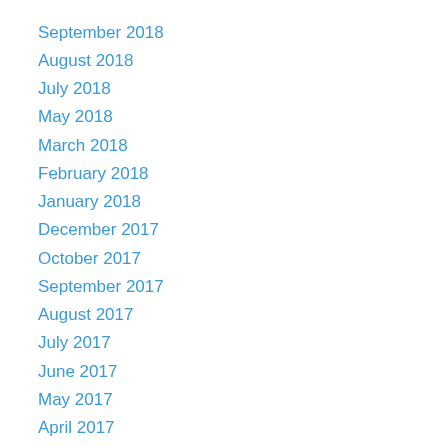September 2018
August 2018
July 2018
May 2018
March 2018
February 2018
January 2018
December 2017
October 2017
September 2017
August 2017
July 2017
June 2017
May 2017
April 2017
March 2017
January 2017
December 2016
November 2016
September 2016